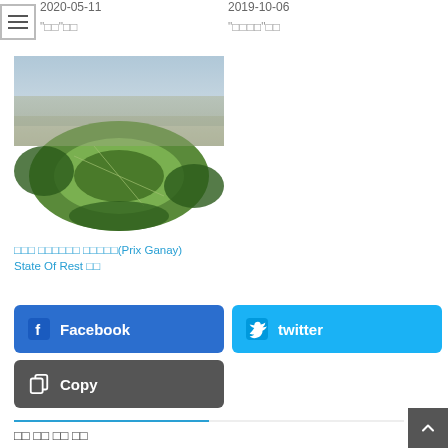2020-05-11
2019-10-06
"□□"□□
"□□□□"□□
[Figure (photo): Aerial view of a large green park or racetrack area surrounded by an urban city landscape]
□□□ □□□□□□ □□□□□(Prix Ganay) State Of Rest □□
2022-05-01
"□□□□□"□□
Facebook
twitter
Copy
□□ □□ □□ □□